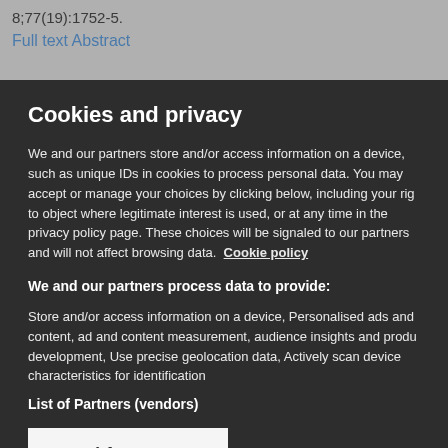8;77(19):1752-5.
Full text  Abstract
Cookies and privacy
We and our partners store and/or access information on a device, such as unique IDs in cookies to process personal data. You may accept or manage your choices by clicking below, including your rig to object where legitimate interest is used, or at any time in the privacy policy page. These choices will be signaled to our partners and will not affect browsing data. Cookie policy
We and our partners process data to provide:
Store and/or access information on a device, Personalised ads and content, ad and content measurement, audience insights and produ development, Use precise geolocation data, Actively scan device characteristics for identification
List of Partners (vendors)
I Accept